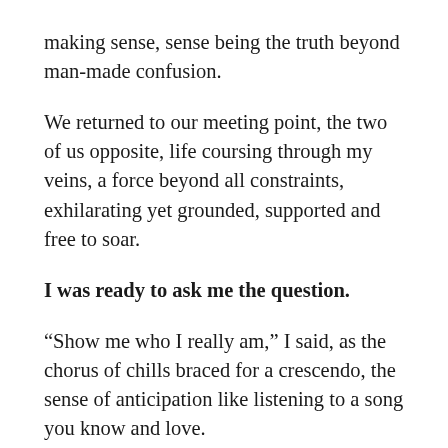making sense, sense being the truth beyond man-made confusion.
We returned to our meeting point, the two of us opposite, life coursing through my veins, a force beyond all constraints, exhilarating yet grounded, supported and free to soar.
I was ready to ask me the question.
“Show me who I really am,” I said, as the chorus of chills braced for a crescendo, the sense of anticipation like listening to a song you know and love.